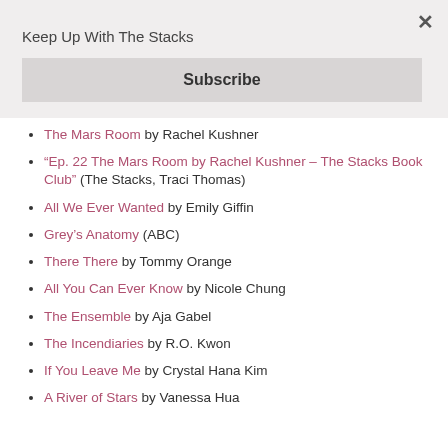Keep Up With The Stacks
Subscribe
The Mars Room by Rachel Kushner
“Ep. 22 The Mars Room by Rachel Kushner – The Stacks Book Club” (The Stacks, Traci Thomas)
All We Ever Wanted by Emily Giffin
Grey’s Anatomy (ABC)
There There by Tommy Orange
All You Can Ever Know by Nicole Chung
The Ensemble by Aja Gabel
The Incendiaries by R.O. Kwon
If You Leave Me by Crystal Hana Kim
A River of Stars by Vanessa Hua